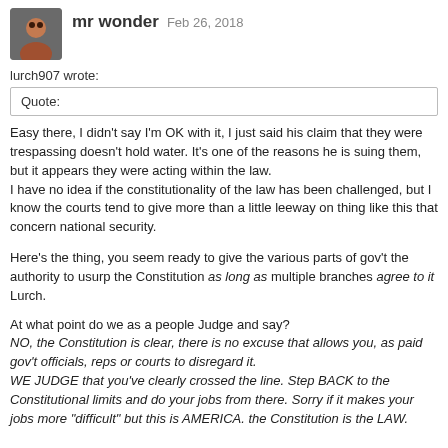mr wonder   Feb 26, 2018
lurch907 wrote:
Quote:
Easy there, I didn't say I'm OK with it, I just said his claim that they were trespassing doesn't hold water. It's one of the reasons he is suing them, but it appears they were acting within the law.
I have no idea if the constitutionality of the law has been challenged, but I know the courts tend to give more than a little leeway on thing like this that concern national security.
Here's the thing, you seem ready to give the various parts of gov't the authority to usurp the Constitution as long as multiple branches agree to it Lurch.
At what point do we as a people Judge and say?
NO, the Constitution is clear, there is no excuse that allows you, as paid gov't officials, reps or courts to disregard it.
WE JUDGE that you've clearly crossed the line. Step BACK to the Constitutional limits and do your jobs from there. Sorry if it makes your jobs more "difficult" but this is AMERICA. the Constitution is the LAW.